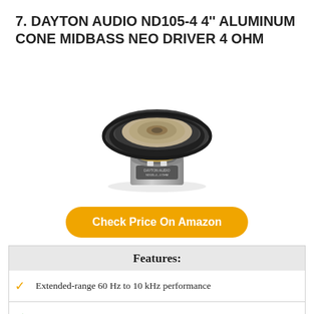7. DAYTON AUDIO ND105-4 4" ALUMINUM CONE MIDBASS NEO DRIVER 4 OHM
[Figure (photo): Photo of the Dayton Audio ND105-4 4-inch aluminum cone midbass neo driver speaker, showing the black rubber surround, aluminum cone, and silver motor structure with Dayton Audio label.]
Check Price On Amazon
| Features: |
| --- |
| ✓ Extended-range 60 Hz to 10 kHz performance |
| ✓ Rubber-edged aluminum alloy cone |
| ✓ Large excursion capability-4 mm Xmax, 20 mm peak |
| ✓ Self-shielded Neo-Balanced motor structure |
| ✓ 1" 4-layer voice coil precision coil with cable inside of... |